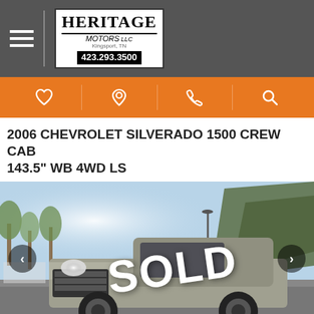[Figure (logo): Heritage Motors logo with phone number 423.293.3500, Kingsport TN]
[Figure (infographic): Orange navigation bar with icons: heart/favorite, location pin, phone, search]
2006 CHEVROLET SILVERADO 1500 CREW CAB 143.5" WB 4WD LS
[Figure (photo): Photo of a silver 2006 Chevrolet Silverado 1500 Crew Cab truck with a large SOLD watermark overlaid on the image. The truck is parked outdoors with trees and hills in the background. Navigation arrows visible on left and right.]